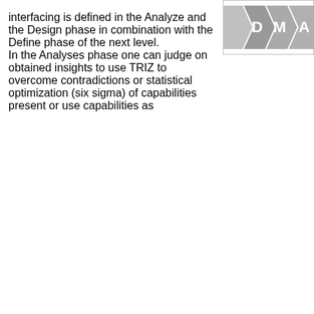interfacing is defined in the Analyze and the Design phase in combination with the Define phase of the next level. In the Analyses phase one can judge on obtained insights to use TRIZ to overcome contradictions or statistical optimization (six sigma) of capabilities present or use capabilities as
[Figure (infographic): Partial view of a process phase diagram showing chevron/arrow shapes labeled D, M, A (partially visible), representing phases of a methodology (likely DMAIC). The shapes are gray with white bold letters.]